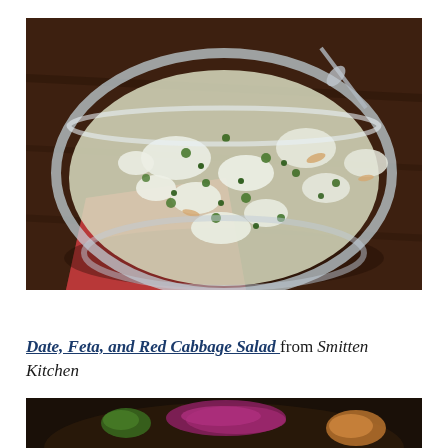[Figure (photo): A glass bowl filled with a salad containing white crumbled feta cheese, capers, green herbs, and other mixed ingredients, placed on a red napkin on a dark wooden table. A silver spoon is visible in the bowl.]
Date, Feta, and Red Cabbage Salad from Smitten Kitchen
[Figure (photo): Partial view of a plate with red cabbage salad, visible at the bottom of the page.]